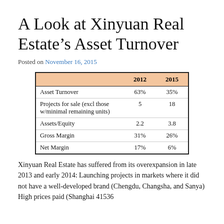A Look at Xinyuan Real Estate’s Asset Turnover
Posted on November 16, 2015
|  | 2012 | 2015 |
| --- | --- | --- |
| Asset Turnover | 63% | 35% |
| Projects for sale (excl those w/minimal remaining units) | 5 | 18 |
| Assets/Equity | 2.2 | 3.8 |
| Gross Margin | 31% | 26% |
| Net Margin | 17% | 6% |
Xinyuan Real Estate has suffered from its overexpansion in late 2013 and early 2014: Launching projects in markets where it did not have a well-developed brand (Chengdu, Changsha, and Sanya) High prices paid (Shanghai 41536